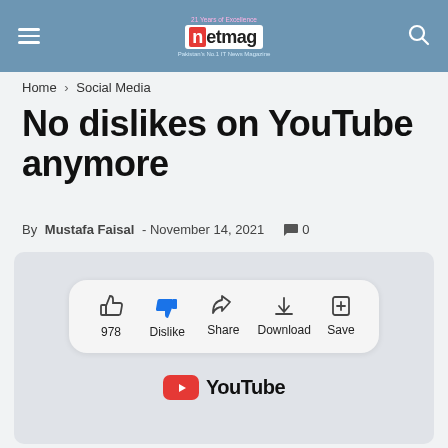netmag — Pakistan's No.1 IT News Magazine
Home › Social Media
No dislikes on YouTube anymore
By Mustafa Faisal - November 14, 2021  0
[Figure (screenshot): YouTube video action bar showing thumbs-up (978), Dislike button (highlighted blue), Share, Download, and Save icons, with the YouTube logo below]